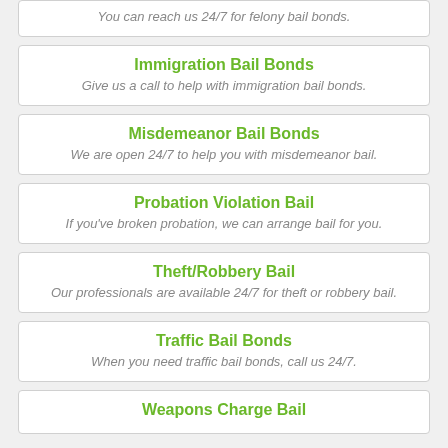You can reach us 24/7 for felony bail bonds.
Immigration Bail Bonds
Give us a call to help with immigration bail bonds.
Misdemeanor Bail Bonds
We are open 24/7 to help you with misdemeanor bail.
Probation Violation Bail
If you've broken probation, we can arrange bail for you.
Theft/Robbery Bail
Our professionals are available 24/7 for theft or robbery bail.
Traffic Bail Bonds
When you need traffic bail bonds, call us 24/7.
Weapons Charge Bail